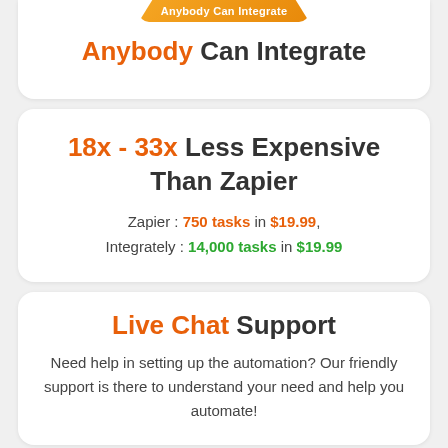[Figure (other): Orange banner/badge with text 'Anybody Can Integrate']
Anybody Can Integrate
18x - 33x Less Expensive Than Zapier
Zapier : 750 tasks in $19.99,
Integrately : 14,000 tasks in $19.99
Live Chat Support
Need help in setting up the automation? Our friendly support is there to understand your need and help you automate!